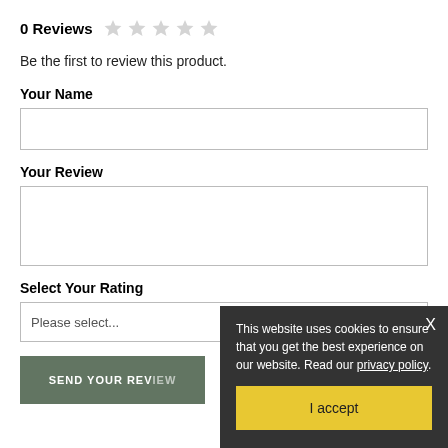0 Reviews
Be the first to review this product.
Your Name
Your Review
Select Your Rating
Please select...
SEND YOUR REVIEW
This website uses cookies to ensure that you get the best experience on our website. Read our privacy policy.
I accept